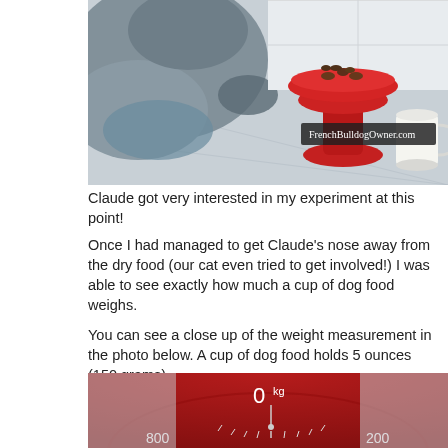[Figure (photo): A French Bulldog sniffing a red bowl of dry dog food on a kitchen scale, with a cup and a watermark reading FrenchBulldogOwner.com]
Claude got very interested in my experiment at this point!
Once I had managed to get Claude's nose away from the dry food (our cat even tried to get involved!) I was able to see exactly how much a cup of dog food weighs.

You can see a close up of the weight measurement in the photo below. A cup of dog food holds 5 ounces (150 grams).
[Figure (photo): Close-up of a red kitchen scale dial showing 0kg reading, with numbers 800 and 200 visible on the scale face]